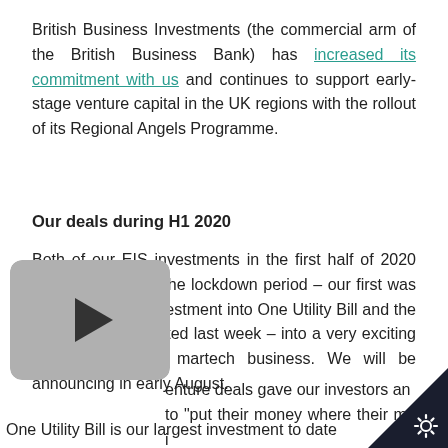British Business Investments (the commercial arm of the British Business Bank) has increased its commitment with us and continues to support early-stage venture capital in the UK regions with the rollout of its Regional Angels Programme.
Our deals during H1 2020
Both of our EIS investments in the first half of 2020 have been during the lockdown period – our first was the £1.7 million investment into One Utility Bill and the second we completed last week – into a very exciting Manchester-based martech business. We will be announcing in early August.
[Figure (other): Video player button overlay (play button on grey rounded background) partially obscuring the text]
...enture deals gave our investors an ...to "put their money where their mouth i...
One Utility Bill is our largest investment to date